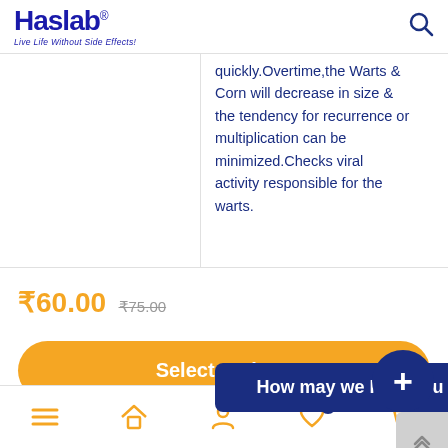Haslab® Live Life Without Side Effects!
quickly.Overtime,the Warts & Corn will decrease in size & the tendency for recurrence or multiplication can be minimized.Checks viral activity responsible for the warts.
₹60.00  ₹75.00
Select options
How may we help you
Add to wishlist